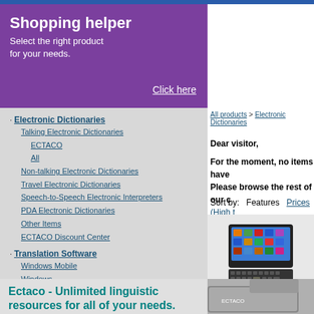Shopping helper
Select the right product for your needs.
Click here
Electronic Dictionaries
Talking Electronic Dictionaries
ECTACO
All
Non-talking Electronic Dictionaries
Travel Electronic Dictionaries
Speech-to-Speech Electronic Interpreters
PDA Electronic Dictionaries
Other Items
ECTACO Discount Center
Translation Software
Windows Mobile
Windows
Android
Linguistic Games
MS Smartphone
Symbian Software
Nokia Software
Sony Ericsson Software
Palm OS Software
Show all
All products > Electronic Dictionaries
Dear visitor,
For the moment, no items have been... Please browse the rest of our c...
Sort by:   Features   Prices (High t...
[Figure (photo): Hand holding an ECTACO electronic dictionary device with touchscreen showing icons]
Ectaco - Unlimited linguistic resources for all of your needs.